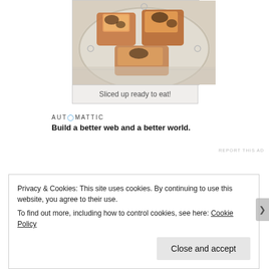[Figure (photo): Food photo showing sliced baked items on a decorative white plate, viewed from above]
Sliced up ready to eat!
[Figure (logo): Automattic logo with tagline: Build a better web and a better world.]
REPORT THIS AD
Privacy & Cookies: This site uses cookies. By continuing to use this website, you agree to their use.
To find out more, including how to control cookies, see here: Cookie Policy
Close and accept